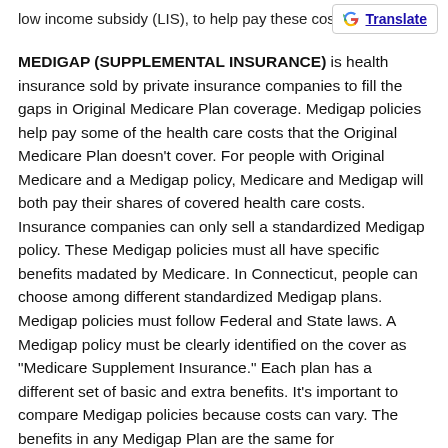low income subsidy (LIS), to help pay these cos…
MEDIGAP (SUPPLEMENTAL INSURANCE) is health insurance sold by private insurance companies to fill the gaps in Original Medicare Plan coverage. Medigap policies help pay some of the health care costs that the Original Medicare Plan doesn't cover. For people with Original Medicare and a Medigap policy, Medicare and Medigap will both pay their shares of covered health care costs. Insurance companies can only sell a standardized Medigap policy. These Medigap policies must all have specific benefits madated by Medicare. In Connecticut, people can choose among different standardized Medigap plans. Medigap policies must follow Federal and State laws. A Medigap policy must be clearly identified on the cover as "Medicare Supplement Insurance." Each plan has a different set of basic and extra benefits. It's important to compare Medigap policies because costs can vary. The benefits in any Medigap Plan are the same for